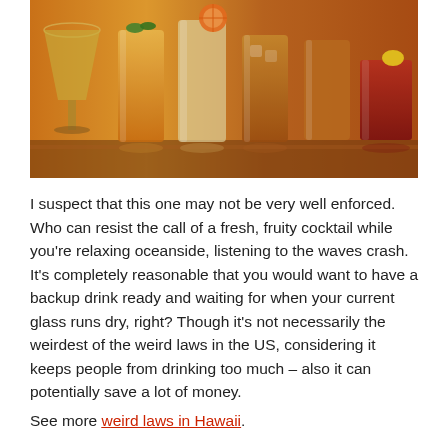[Figure (photo): A row of colorful cocktail drinks in various glasses on a bar surface — includes margarita glass, highball glasses, and rocks glasses with drinks in shades of yellow, orange, amber, and dark red. Some garnished with citrus slices and mint.]
I suspect that this one may not be very well enforced. Who can resist the call of a fresh, fruity cocktail while you're relaxing oceanside, listening to the waves crash. It's completely reasonable that you would want to have a backup drink ready and waiting for when your current glass runs dry, right? Though it's not necessarily the weirdest of the weird laws in the US, considering it keeps people from drinking too much – also it can potentially save a lot of money.
See more weird laws in Hawaii.